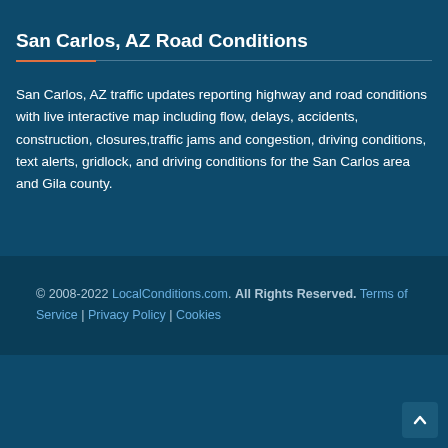San Carlos, AZ Road Conditions
San Carlos, AZ traffic updates reporting highway and road conditions with live interactive map including flow, delays, accidents, construction, closures,traffic jams and congestion, driving conditions, text alerts, gridlock, and driving conditions for the San Carlos area and Gila county.
© 2008-2022 LocalConditions.com. All Rights Reserved. Terms of Service | Privacy Policy | Cookies